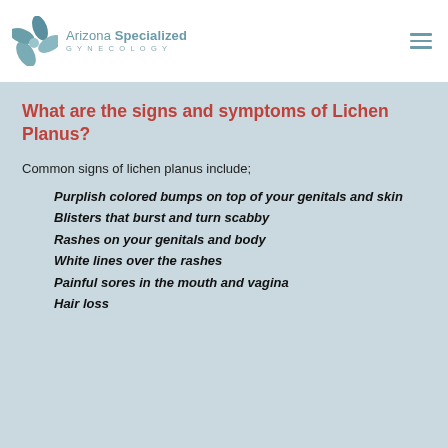[Figure (logo): Arizona Specialized Gynecology logo with teal flower/leaf graphic and text]
What are the signs and symptoms of Lichen Planus?
Common signs of lichen planus include;
Purplish colored bumps on top of your genitals and skin
Blisters that burst and turn scabby
Rashes on your genitals and body
White lines over the rashes
Painful sores in the mouth and vagina
Hair loss